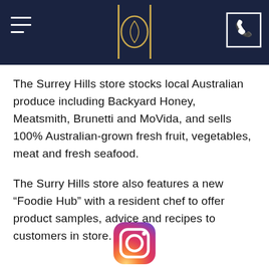[Figure (logo): Dark navy header bar with hamburger menu icon on left, central logo (circular eye/O symbol with vertical bars), and phone icon button on right]
The Surrey Hills store stocks local Australian produce including Backyard Honey, Meatsmith, Brunetti and MoVida, and sells 100% Australian-grown fresh fruit, vegetables, meat and fresh seafood.
The Surry Hills store also features a new “Foodie Hub” with a resident chef to offer product samples, advice and recipes to customers in store.
[Figure (logo): Instagram logo icon (camera outline with gradient colors pink/orange/purple) at bottom center of page]